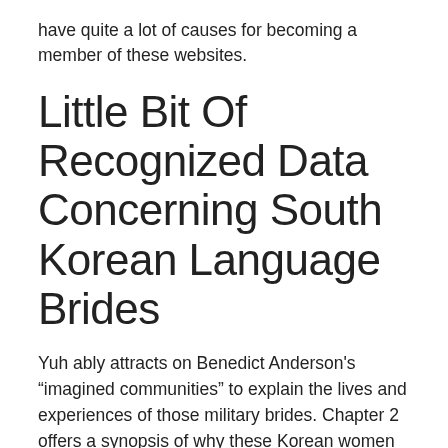have quite a lot of causes for becoming a member of these websites.
Little Bit Of Recognized Data Concerning South Korean Language Brides
Yuh ably attracts on Benedict Anderson's “imagined communities” to explain the lives and experiences of those military brides. Chapter 2 offers a synopsis of why these Korean women married American servicemen. The reasons ranged from love to desperation to hope for a greater life.
An further benefit could be the provision of educated translator. There are many web sites on